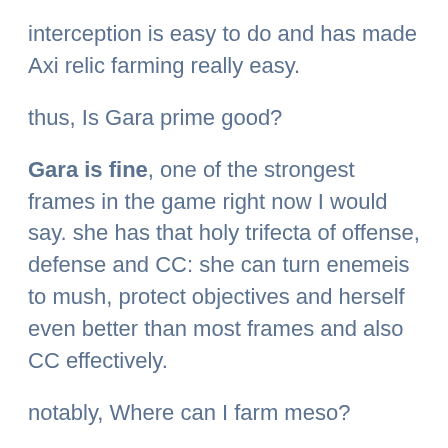interception is easy to do and has made Axi relic farming really easy.
thus, Is Gara prime good?
Gara is fine, one of the strongest frames in the game right now I would say. she has that holy trifecta of offense, defense and CC: she can turn enemeis to mush, protect objectives and herself even better than most frames and also CC effectively.
notably, Where can I farm meso?
The best drop chance for a Meso Relic is found on either Io (Jupiter) or Paimon (Europa), with the first one being the better choice – but not by a lot.